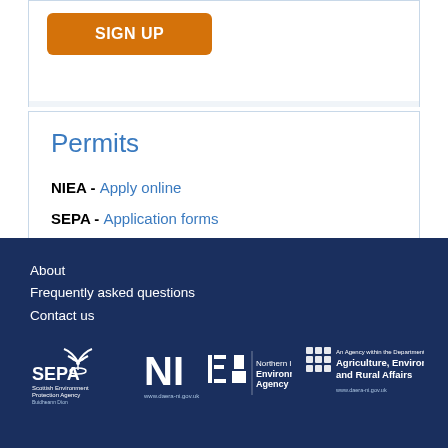[Figure (other): Orange SIGN UP button]
Permits
NIEA - Apply online
SEPA - Application forms
About
Frequently asked questions
Contact us
[Figure (logo): SEPA Scottish Environment Protection Agency logo]
[Figure (logo): NIEA Northern Ireland Environment Agency logo with www.daera-ni.gov.uk]
[Figure (logo): An Agency within the Department of Agriculture, Environment and Rural Affairs logo with www.daera-ni.gov.uk]